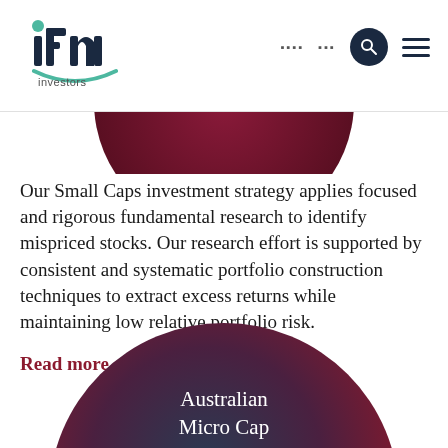IFM Investors
[Figure (illustration): Partial dark maroon/dark red circle cropped at top of content area]
Our Small Caps investment strategy applies focused and rigorous fundamental research to identify mispriced stocks. Our research effort is supported by consistent and systematic portfolio construction techniques to extract excess returns while maintaining low relative portfolio risk.
Read more >
[Figure (illustration): Large dark navy-to-maroon gradient circle with white text 'Australian Micro Cap' centered, partially cropped at bottom of page]